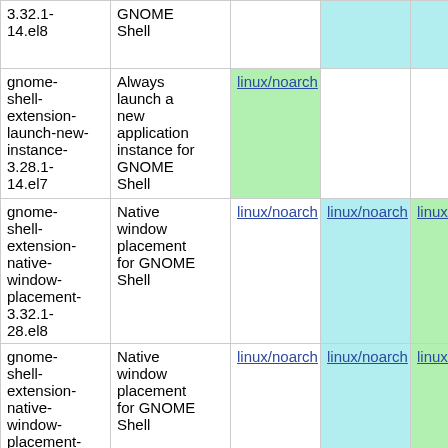| Package | Description | Col3 | Col4 | Col5 |
| --- | --- | --- | --- | --- |
| 3.32.1-14.el8 | GNOME Shell |  |  |  |
| gnome-shell-extension-launch-new-instance-3.28.1-14.el7 | Always launch a new application instance for GNOME Shell | linux/noarch |  |  |
| gnome-shell-extension-native-window-placement-3.32.1-28.el8 | Native window placement for GNOME Shell | linux/noarch | linux/noarch | linux/noarch |
| gnome-shell-extension-native-window-placement-3.32.1-27.el8 | Native window placement for GNOME Shell | linux/noarch | linux/noarch | linux/noarch |